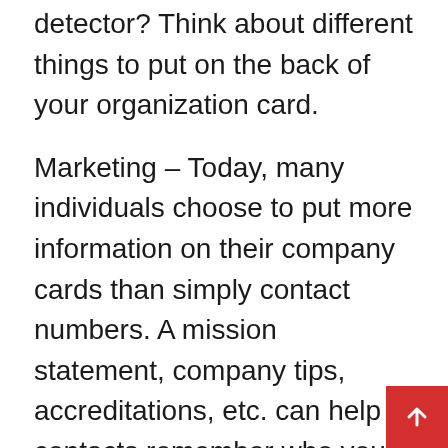detector? Think about different things to put on the back of your organization card.
Marketing – Today, many individuals choose to put more information on their company cards than simply contact numbers. A mission statement, company tips, accreditations, etc. can help contacts remember who you are and what you do, particularly if you fulfill during a hectic networking event. Many service individuals feel that the back of your card is usable area, a good area for an unforgettable marketing message.